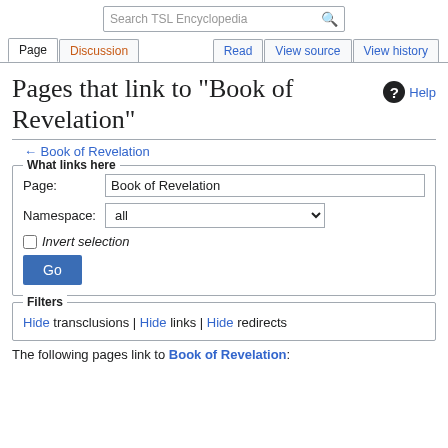Search TSL Encyclopedia | Page | Discussion | Read | View source | View history
Pages that link to "Book of Revelation"
Help
← Book of Revelation
What links here
Page: Book of Revelation
Namespace: all
Invert selection
Go
Filters
Hide transclusions | Hide links | Hide redirects
The following pages link to Book of Revelation: